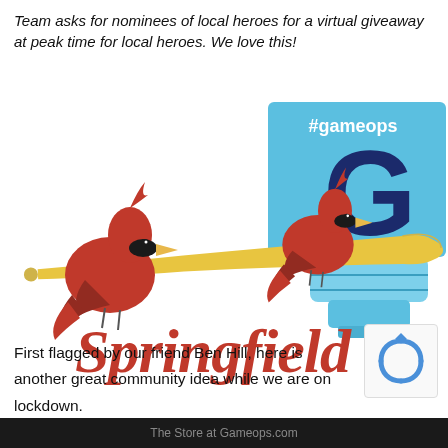Team asks for nominees of local heroes for a virtual giveaway at peak time for local heroes. We love this!
[Figure (logo): Springfield Cardinals baseball team logo — two red cardinal birds perched on a yellow baseball bat, with 'Springfield' written in red script cursive lettering with a TM mark. Overlapping with a #gameops social media badge showing a water cooler jug with a large letter G and the hashtag #gameops.]
First flagged by our friend Ben Hill, here is another great community idea while we are on lockdown.
The Store at Gameops.com